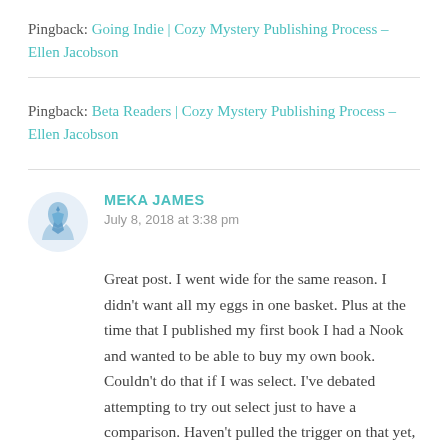Pingback: Going Indie | Cozy Mystery Publishing Process – Ellen Jacobson
Pingback: Beta Readers | Cozy Mystery Publishing Process – Ellen Jacobson
MEKA JAMES
July 8, 2018 at 3:38 pm
Great post. I went wide for the same reason. I didn't want all my eggs in one basket. Plus at the time that I published my first book I had a Nook and wanted to be able to buy my own book. Couldn't do that if I was select. I've debated attempting to try out select just to have a comparison. Haven't pulled the trigger on that yet, but maybe one day.